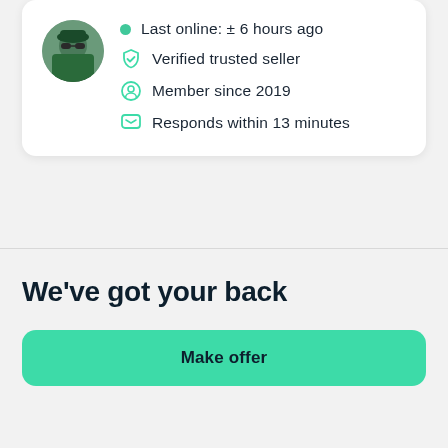[Figure (photo): Circular avatar photo of a person wearing a green jacket and sunglasses, making a hand gesture, outdoors in snowy/winter setting]
Last online: ± 6 hours ago
Verified trusted seller
Member since 2019
Responds within 13 minutes
We've got your back
Make offer